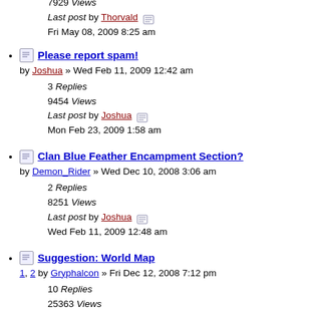7929 Views
Last post by Thorvald
Fri May 08, 2009 8:25 am
Please report spam!
by Joshua » Wed Feb 11, 2009 12:42 am
3 Replies
9454 Views
Last post by Joshua
Mon Feb 23, 2009 1:58 am
Clan Blue Feather Encampment Section?
by Demon_Rider » Wed Dec 10, 2008 3:06 am
2 Replies
8251 Views
Last post by Joshua
Wed Feb 11, 2009 12:48 am
Suggestion: World Map
1, 2 by Gryphalcon » Fri Dec 12, 2008 7:12 pm
10 Replies
25363 Views
Last post by Joshua
Wed Feb 11, 2009 12:46 am